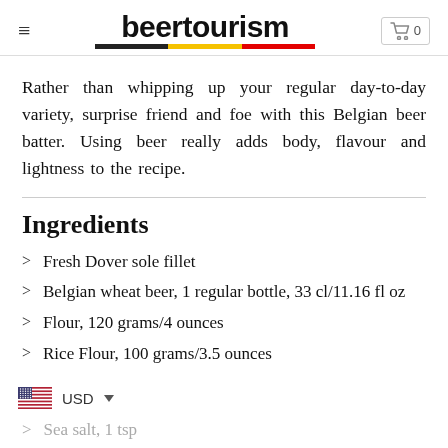beertourism
Rather than whipping up your regular day-to-day variety, surprise friend and foe with this Belgian beer batter. Using beer really adds body, flavour and lightness to the recipe.
Ingredients
Fresh Dover sole fillet
Belgian wheat beer, 1 regular bottle, 33 cl/11.16 fl oz
Flour, 120 grams/4 ounces
Rice Flour, 100 grams/3.5 ounces
Sea salt, 1 tsp